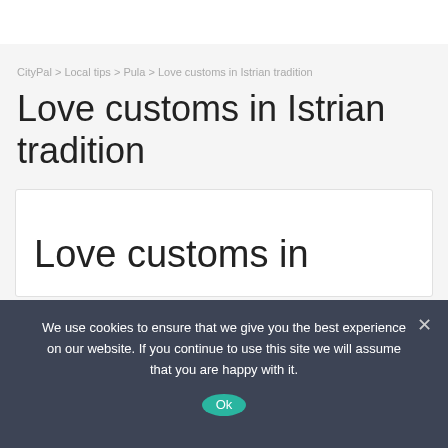CityPal > Local tips > Pula > Love customs in Istrian tradition
Love customs in Istrian tradition
[Figure (screenshot): Partially visible article card with large heading text 'Love customs in' cut off at the bottom]
We use cookies to ensure that we give you the best experience on our website. If you continue to use this site we will assume that you are happy with it.